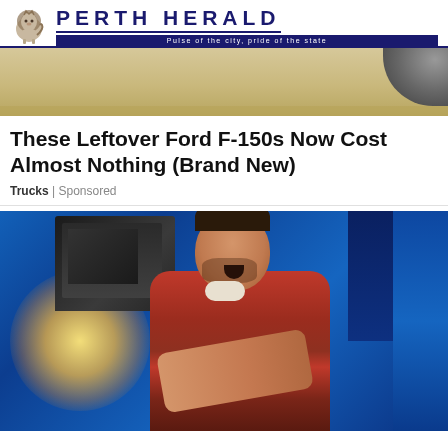PERTH HERALD — Pulse of the city, pride of the state
[Figure (photo): Top portion of a photo showing sandy/dirt ground with a vehicle tire visible in the upper right corner]
These Leftover Ford F-150s Now Cost Almost Nothing (Brand New)
Trucks | Sponsored
[Figure (photo): A man sitting in the cab of a large blue truck, leaning out the open window with his mouth open in an expression of surprise or excitement, wearing a plaid shirt, with bright sunlight coming from behind]